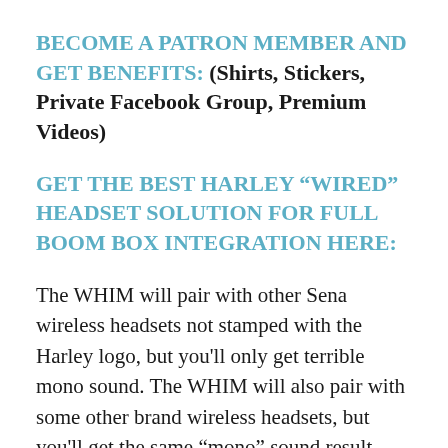BECOME A PATRON MEMBER AND GET BENEFITS: (Shirts, Stickers, Private Facebook Group, Premium Videos)
GET THE BEST HARLEY “WIRED” HEADSET SOLUTION FOR FULL BOOM BOX INTEGRATION HERE:
The WHIM will pair with other Sena wireless headsets not stamped with the Harley logo, but you'll only get terrible mono sound. The WHIM will also pair with some other brand wireless headsets, but you'll get the same “mono” sound result.